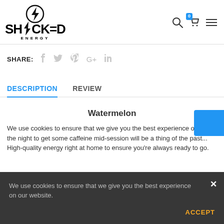[Figure (logo): Shocked Energy logo with lightning bolt icon and bold stylized text]
SHARE:
[Figure (infographic): Social share icons: Facebook, Twitter, Pinterest, Google+, LinkedIn in light gray]
DESCRIPTION
REVIEW
Watermelon
We use cookies to ensure that we give you the best experience on our website.
the night to get some caffeine mid-session will be a thing of the past...
High-quality energy right at home to ensure you're always ready to go.